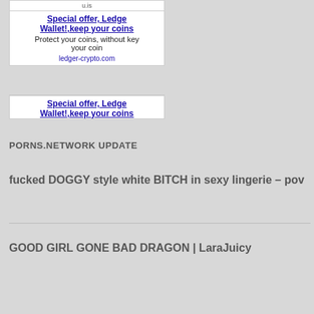u.is
Special offer, Ledger Wallet!,keep your coins
Protect your coins, without key your coin
ledger-crypto.com
Special offer, Ledger Wallet!,keep your coins
PORNS.NETWORK UPDATE
fucked DOGGY style white BITCH in sexy lingerie – pov
GOOD GIRL GONE BAD DRAGON | LaraJuicy